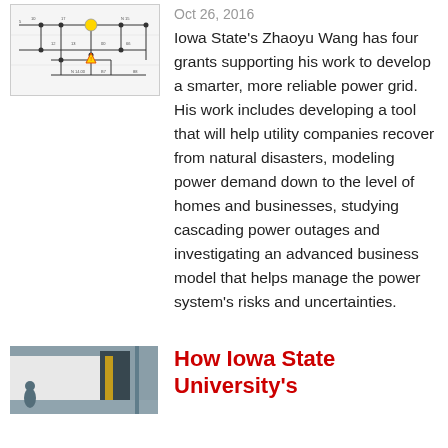[Figure (schematic): Engineering/power grid schematic diagram with nodes and connections]
Oct 26, 2016
Iowa State's Zhaoyu Wang has four grants supporting his work to develop a smarter, more reliable power grid. His work includes developing a tool that will help utility companies recover from natural disasters, modeling power demand down to the level of homes and businesses, studying cascading power outages and investigating an advanced business model that helps manage the power system's risks and uncertainties.
[Figure (photo): Photo of Iowa State University facility or building interior]
How Iowa State University's